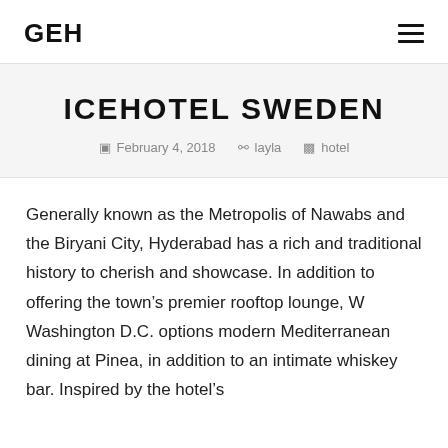GEH
ICEHOTEL SWEDEN
February 4, 2018   layla   hotel
Generally known as the Metropolis of Nawabs and the Biryani City, Hyderabad has a rich and traditional history to cherish and showcase. In addition to offering the town's premier rooftop lounge, W Washington D.C. options modern Mediterranean dining at Pinea, in addition to an intimate whiskey bar. Inspired by the hotel's